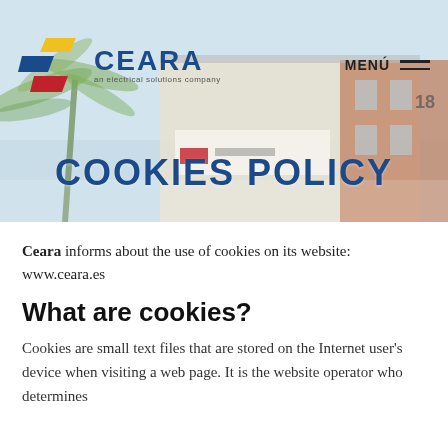CEARA an electrical solutions company | MENÚ
[Figure (photo): Background photo of CEARA company building facade with palm tree and light blue sky]
COOKIES POLICY
Ceara informs about the use of cookies on its website: www.ceara.es
What are cookies?
Cookies are small text files that are stored on the Internet user's device when visiting a web page. It is the website operator who determines